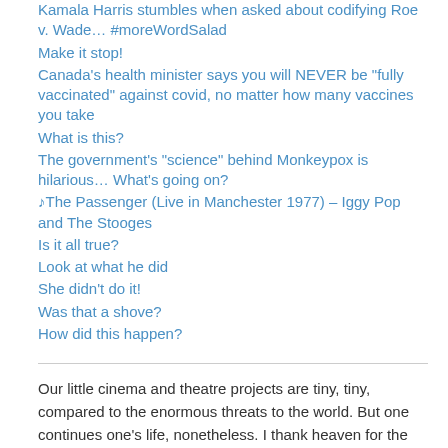Kamala Harris stumbles when asked about codifying Roe v. Wade… #moreWordSalad
Make it stop!
Canada's health minister says you will NEVER be "fully vaccinated" against covid, no matter how many vaccines you take
What is this?
The government's "science" behind Monkeypox is hilarious… What's going on?
♪The Passenger (Live in Manchester 1977) – Iggy Pop and The Stooges
Is it all true?
Look at what he did
She didn't do it!
Was that a shove?
How did this happen?
Our little cinema and theatre projects are tiny, tiny, compared to the enormous threats to the world. But one continues one's life, nonetheless. I thank heaven for the child that's still in me. I love